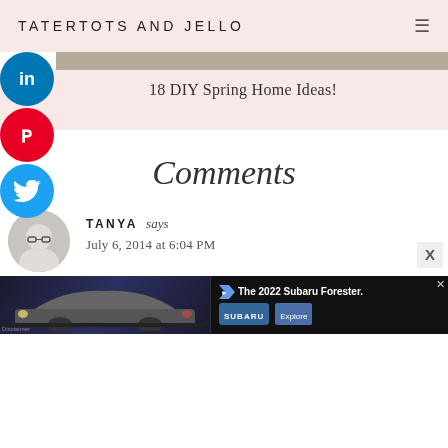TATERTOTS AND JELLO
18 DIY Spring Home Ideas!
Comments
TANYA says
July 6, 2014 at 6:04 PM
Hi there, for a long time, I have wanted my husband to build a shed so that we can use half for his construction
[Figure (other): Advertisement banner: The 2022 Subaru Forester with car image and Subaru logo and Explore button]